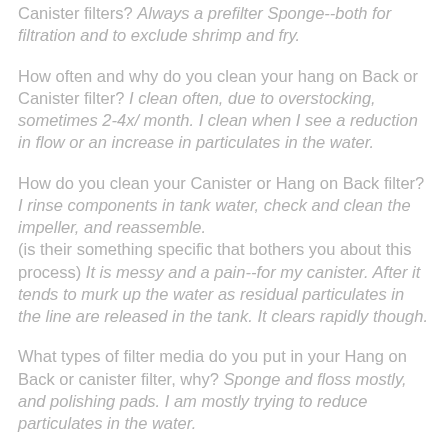Canister filters? Always a prefilter Sponge--both for filtration and to exclude shrimp and fry.
How often and why do you clean your hang on Back or Canister filter? I clean often, due to overstocking, sometimes 2-4x/ month. I clean when I see a reduction in flow or an increase in particulates in the water.
How do you clean your Canister or Hang on Back filter? I rinse components in tank water, check and clean the impeller, and reassemble. (is their something specific that bothers you about this process) It is messy and a pain--for my canister. After it tends to murk up the water as residual particulates in the line are released in the tank. It clears rapidly though.
What types of filter media do you put in your Hang on Back or canister filter, why? Sponge and floss mostly, and polishing pads. I am mostly trying to reduce particulates in the water.